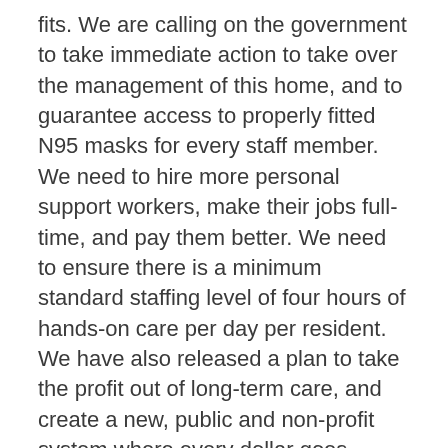fits. We are calling on the government to take immediate action to take over the management of this home, and to guarantee access to properly fitted N95 masks for every staff member. We need to hire more personal support workers, make their jobs full-time, and pay them better. We need to ensure there is a minimum standard staffing level of four hours of hands-on care per day per resident. We have also released a plan to take the profit out of long-term care, and create a new, public and non-profit system where every dollar goes directly to residents — not to corporate profits.
The Ontario government has asked hospitals to prepare to use their surge capacity as COVID-19 case numbers continue to rise